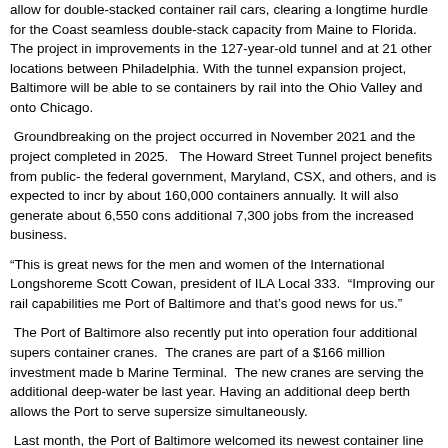allow for double-stacked container rail cars, clearing a longtime hurdle for the Coast seamless double-stack capacity from Maine to Florida. The project includes improvements in the 127-year-old tunnel and at 21 other locations between Philadelphia. With the tunnel expansion project, Baltimore will be able to send containers by rail into the Ohio Valley and onto Chicago.
Groundbreaking on the project occurred in November 2021 and the project is completed in 2025. The Howard Street Tunnel project benefits from public-private partnerships with the federal government, Maryland, CSX, and others, and is expected to increase rail traffic by about 160,000 containers annually. It will also generate about 6,550 construction jobs and additional 7,300 jobs from the increased business.
“This is great news for the men and women of the International Longshoremen,” said Scott Cowan, president of ILA Local 333. “Improving our rail capabilities means more business for the Port of Baltimore and that’s good news for us.”
The Port of Baltimore also recently put into operation four additional supersized container cranes. The cranes are part of a $166 million investment made by Seagirt Marine Terminal. The new cranes are serving the additional deep-water berth added last year. Having an additional deep berth allows the Port to serve supersize vessels simultaneously.
Last month, the Port of Baltimore welcomed its newest container line service, E-Commerce Baltimore Express (ZXB), a service from China and Southeast Asia.